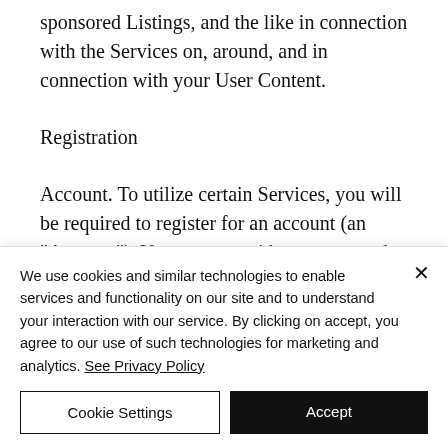sponsored Listings, and the like in connection with the Services on, around, and in connection with your User Content.
Registration
Account. To utilize certain Services, you will be required to register for an account (an “Account”). You must provide accurate and complete information and keep your
We use cookies and similar technologies to enable services and functionality on our site and to understand your interaction with our service. By clicking on accept, you agree to our use of such technologies for marketing and analytics. See Privacy Policy